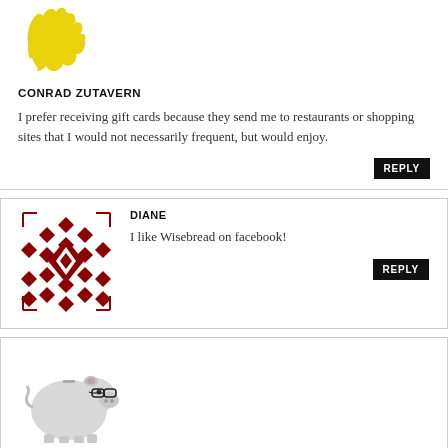[Figure (illustration): Yellow abstract/flame avatar image for Conrad Zutavern]
CONRAD ZUTAVERN
I prefer receiving gift cards because they send me to restaurants or shopping sites that I would not necessarily frequent, but would enjoy.
[Figure (illustration): Red diamond quilt pattern avatar for Diane]
DIANE
I like Wisebread on facebook!
[Figure (illustration): Piggy bank with glasses avatar for The Family CEO]
THE FAMILY CEO